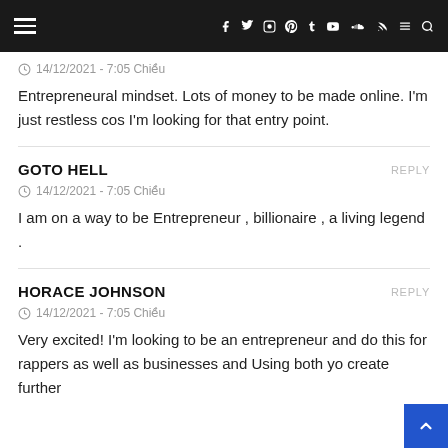Navigation bar with hamburger menu and social icons
14/12/2021 - 7:05 Chiều
Entrepreneural mindset. Lots of money to be made online. I'm just restless cos I'm looking for that entry point.
GOTO HELL
14/12/2021 - 7:05 Chiều
I am on a way to be Entrepreneur , billionaire , a living legend .
HORACE JOHNSON
14/12/2021 - 7:05 Chiều
Very excited! I'm looking to be an entrepreneur and do this for rappers as well as businesses and Using both yo create further